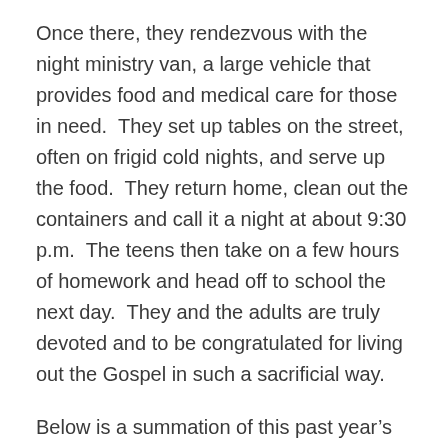Once there, they rendezvous with the night ministry van, a large vehicle that provides food and medical care for those in need.  They set up tables on the street, often on frigid cold nights, and serve up the food.  They return home, clean out the containers and call it a night at about 9:30 p.m.  The teens then take on a few hours of homework and head off to school the next day.  They and the adults are truly devoted and to be congratulated for living out the Gospel in such a sacrificial way.
Below is a summation of this past year's Night Ministry.  It is written by Tom Kurcab, a pillar of the Saint Anne youth community, who has driven most of the miles on these trips, along with Fred Wrobleski (other adults have volunteered to drive as well—these two are the regulars). Both of them have been tireless in their 50+ mile treks. He wrote this email to